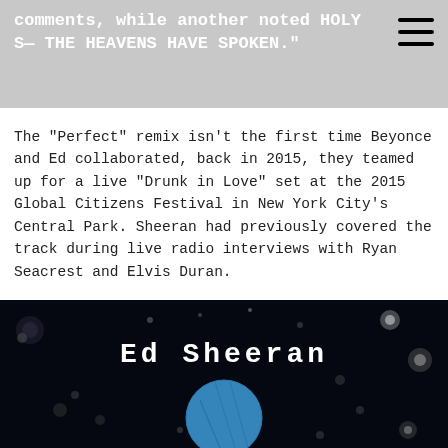comments, while another noted 'HOLY S— THE HEAVENS HAVE SPOKEN.'
The "Perfect" remix isn't the first time Beyonce and Ed collaborated, back in 2015, they teamed up for a live "Drunk in Love" set at the 2015 Global Citizens Festival in New York City's Central Park. Sheeran had previously covered the track during live radio interviews with Ryan Seacrest and Elvis Duran.
[Figure (photo): Dark/black background image with white text reading 'Ed Sheeran' in typewriter font, with a blue circular shape (album art element) in the center and scattered white bokeh light spots throughout.]